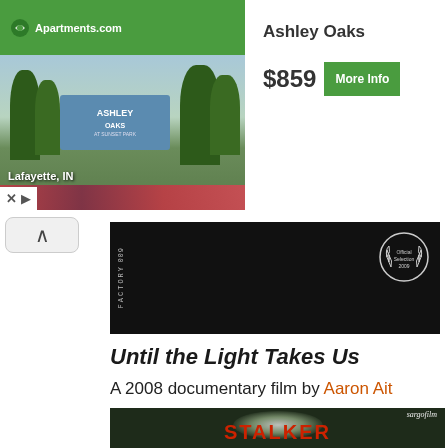[Figure (photo): Apartments.com advertisement banner showing Ashley Oaks apartment complex in Lafayette, IN. Green branding with photo of apartment signage, price $859 and More Info button.]
[Figure (photo): Black film strip frame with '009 FACTORY' text on the left side and a laurel wreath award badge on the right.]
Until the Light Takes Us
A 2008 documentary film by Aaron Aites and Audrey Ewellabout the early 90s black metal scene in Norway.
[Figure (photo): Movie title card for 'STALKER' directed by Andrei Tarkovsky, with Sargofilm logo. Dark background with glowing orb effect and red bold title text.]